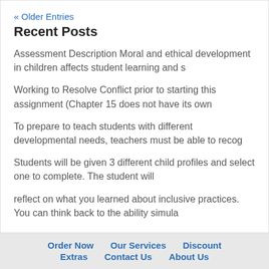« Older Entries
Recent Posts
Assessment Description Moral and ethical development in children affects student learning and s
Working to Resolve Conflict prior to starting this assignment (Chapter 15 does not have its own
To prepare to teach students with different developmental needs, teachers must be able to recog
Students will be given 3 different child profiles and select one to complete. The student will
reflect on what you learned about inclusive practices. You can think back to the ability simula
Order Now   Our Services   Discount   Extras   Contact Us   About Us